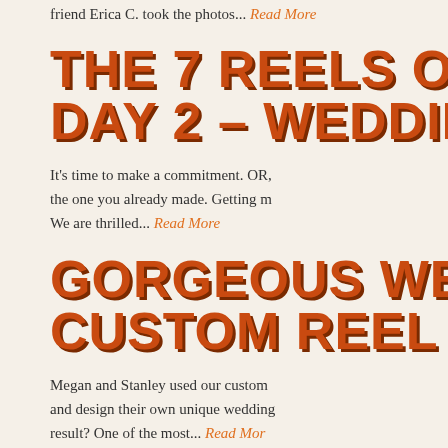friend Erica C. took the photos... Read More
THE 7 REELS OF C... DAY 2 – WEDDINGS
It's time to make a commitment. OR, the one you already made. Getting m... We are thrilled... Read More
GORGEOUS WEDDING CUSTOM REEL INV...
Megan and Stanley used our custom and design their own unique wedding result? One of the most... Read More
SHE SAID YES! NE...
[Figure (infographic): Orange SMS sign-up panel overlay with large $5 discount offer, phone number input field with US flag, and legal disclaimer text about marketing messages from Image3D.]